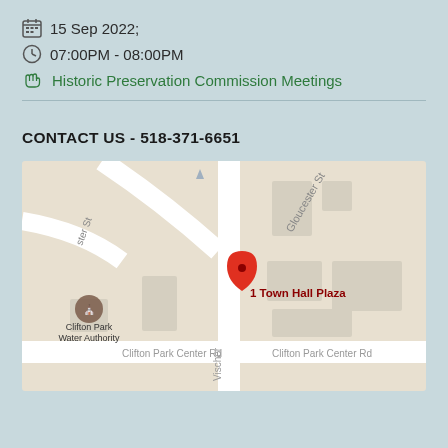15 Sep 2022;
07:00PM - 08:00PM
Historic Preservation Commission Meetings
CONTACT US - 518-371-6651
[Figure (map): Google Maps showing location of 1 Town Hall Plaza in Clifton Park, with streets Gloucester St, Clifton Park Center Rd, and Vischer visible. Red location pin marks 1 Town Hall Plaza. Clifton Park Water Authority landmark shown.]